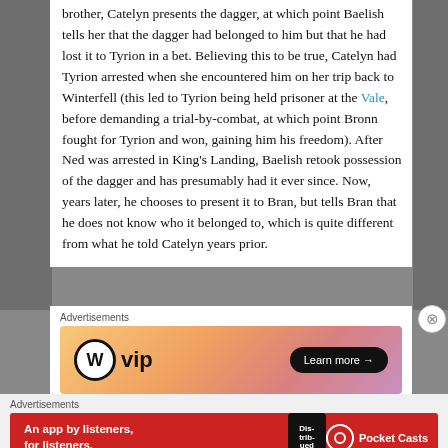brother, Catelyn presents the dagger, at which point Baelish tells her that the dagger had belonged to him but that he had lost it to Tyrion in a bet. Believing this to be true, Catelyn had Tyrion arrested when she encountered him on her trip back to Winterfell (this led to Tyrion being held prisoner at the Vale, before demanding a trial-by-combat, at which point Bronn fought for Tyrion and won, gaining him his freedom). After Ned was arrested in King's Landing, Baelish retook possession of the dagger and has presumably had it ever since. Now, years later, he chooses to present it to Bran, but tells Bran that he does not know who it belonged to, which is quite different from what he told Catelyn years prior.
Advertisements
[Figure (other): WordPress VIP advertisement banner with gradient orange-pink background, WP logo on left, and 'Learn more →' button on right]
Advertisements
[Figure (other): Pocket Casts advertisement banner with red background, text 'An app by listeners, for listeners.' and Pocket Casts logo on right, phone image showing 'Dis-trib-uted']